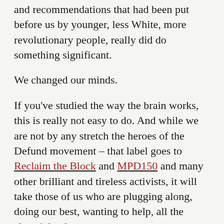and recommendations that had been put before us by younger, less White, more revolutionary people, really did do something significant.
We changed our minds.
If you've studied the way the brain works, this is really not easy to do. And while we are not by any stretch the heroes of the Defund movement – that label goes to Reclaim the Block and MPD150 and many other brilliant and tireless activists, it will take those of us who are plugging along, doing our best, wanting to help, all the clearsightedness we can muster to support the changes that are coming. How do we reimagine policing? What can we actually do to help? How do we think of crime? And punishment? How can we build a beloved community where people help each other instead of